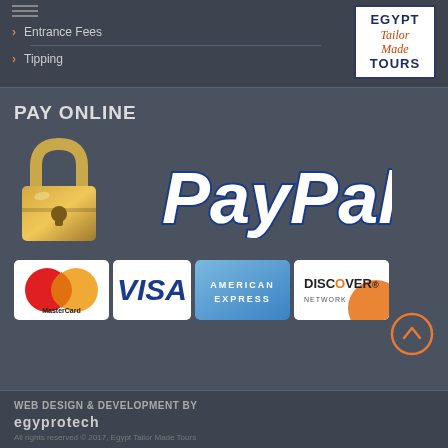Entrance Fees
Tipping
[Figure (logo): Egypt Tailor Made Tours logo - navy bordered box with italic red script text]
PAY ONLINE
[Figure (infographic): Pay online section showing a golden padlock icon next to the PayPal logo (white italic bold text with dark blue outline), and below it four payment card logos: MasterCard, VISA, American Express, Discover Network]
WEB DESIGN & DEVELOPMENT BY EGYPROTECH